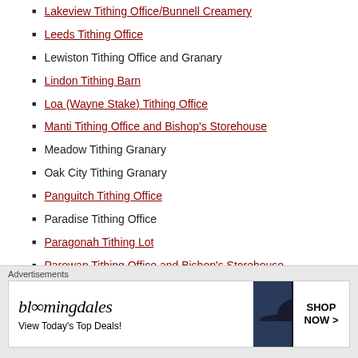Lakeview Tithing Office/Bunnell Creamery
Leeds Tithing Office
Lewiston Tithing Office and Granary
Lindon Tithing Barn
Loa (Wayne Stake) Tithing Office
Manti Tithing Office and Bishop's Storehouse
Meadow Tithing Granary
Oak City Tithing Granary
Panguitch Tithing Office
Paradise Tithing Office
Paragonah Tithing Lot
Parowan Tithing Office and Bishop's Storehouse
Payson Tithing Office (demoslished)
Pine Valley Tithing Office at Pine Valley Chapel
Pleasant Grove Tithing Office
Provo Tithing Office
[Figure (infographic): Bloomingdale's advertisement banner with logo, tagline 'View Today's Top Deals!', woman with hat, and SHOP NOW button]